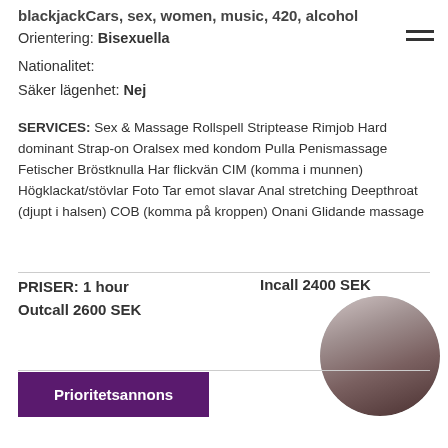blackjackCars, sex, women, music, 420, alcohol
Orientering: Bisexuella
Nationalitet:
Säker lägenhet: Nej
SERVICES: Sex & Massage Rollspell Striptease Rimjob Hard dominant Strap-on Oralsex med kondom Pulla Penismassage Fetischer Bröstknulla Har flickvän CIM (komma i munnen) Högklackat/stövlar Foto Tar emot slavar Anal stretching Deepthroat (djupt i halsen) COB (komma på kroppen) Onani Glidande massage
PRISER: 1 hour Outcall 2600 SEK
Incall 2400 SEK
[Figure (photo): Circular profile photo of a woman with dark hair]
Prioritetsannons